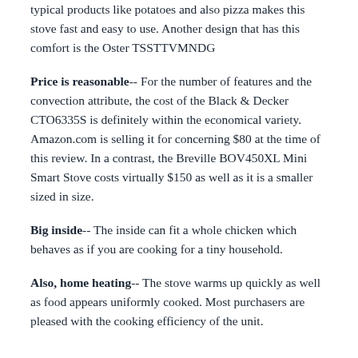typical products like potatoes and also pizza makes this stove fast and easy to use. Another design that has this comfort is the Oster TSSTTVMNDG
Price is reasonable-- For the number of features and the convection attribute, the cost of the Black & Decker CTO6335S is definitely within the economical variety. Amazon.com is selling it for concerning $80 at the time of this review. In a contrast, the Breville BOV450XL Mini Smart Stove costs virtually $150 as well as it is a smaller sized in size.
Big inside-- The inside can fit a whole chicken which behaves as if you are cooking for a tiny household.
Also, home heating-- The stove warms up quickly as well as food appears uniformly cooked. Most purchasers are pleased with the cooking efficiency of the unit.